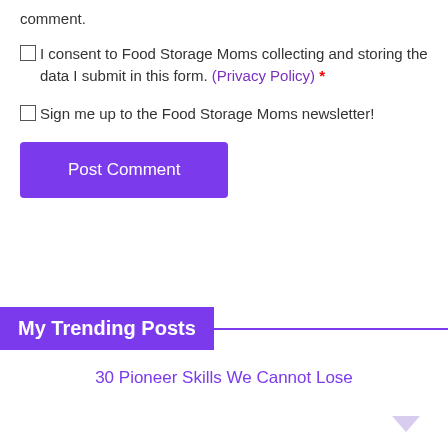comment.
☐I consent to Food Storage Moms collecting and storing the data I submit in this form. (Privacy Policy) *
☐Sign me up to the Food Storage Moms newsletter!
Post Comment
My Trending Posts
30 Pioneer Skills We Cannot Lose